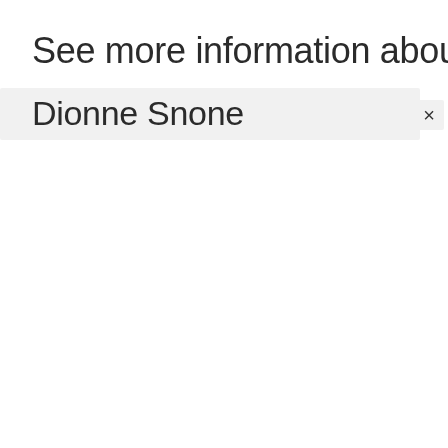See more information about
Dionne Snone